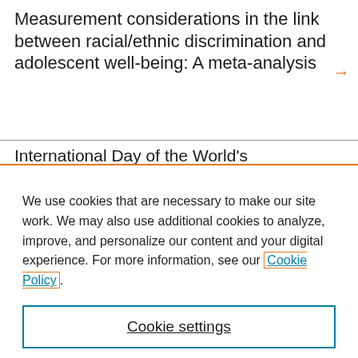Measurement considerations in the link between racial/ethnic discrimination and adolescent well-being: A meta-analysis
International Day of the World's
We use cookies that are necessary to make our site work. We may also use additional cookies to analyze, improve, and personalize our content and your digital experience. For more information, see our Cookie Policy.
Cookie settings
Accept all cookies